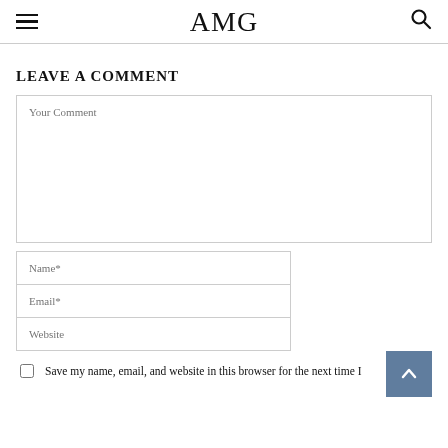AMG
LEAVE A COMMENT
Your Comment
Name*
Email*
Website
Save my name, email, and website in this browser for the next time I